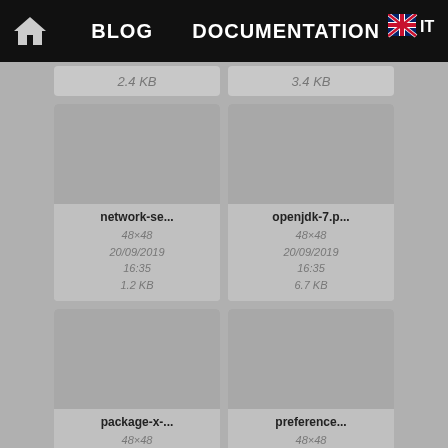BLOG   DOCUMENTATION
[Figure (screenshot): Partial file cards showing 2.4 KB and 3.4 KB]
[Figure (screenshot): File card: network-se... 48x48 20/09/2019 16:35 1.2 KB]
[Figure (screenshot): File card: openjdk-7.p... 48x48 20/09/2019 16:35 6.7 KB]
[Figure (screenshot): File card: package-x-... 48x48 20/09/2019 16:35]
[Figure (screenshot): File card: preference... 48x48 20/09/2019 16:35]